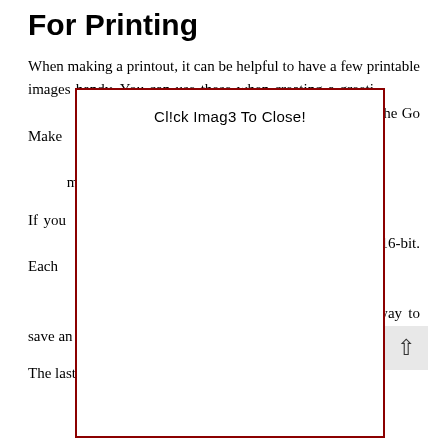For Printing
When making a printout, it can be helpful to have a few printable images handy. You can use these when creating a greeting [card or note. Some of the most] images are a[vailable for free on t]he Go Make [It site. These are both person]al and nonco[mmercial, so you can use them on your webs]ite or repos[t them, or use them in a social ]media accou[nt.]
[Figure (screenshot): Modal dialog box with red border containing the text 'Cl!ck Imag3 To Close!' centered at the top, overlaying the body text.]
If you [want to use the images for an]other purpo[se, you should know that the ]most comm[on image formats are 8-bit and ]16-bit. Each [channel of each image has color ]tones that a[re represented as values. A 16-bit imag]e can hold [65,536 colors whereas an 8-bit image can c]ontain 28,000,000,000 colors. The best way to save an image is in its native format, and then edit it later.
The last step in the printing process is to sharpen the image